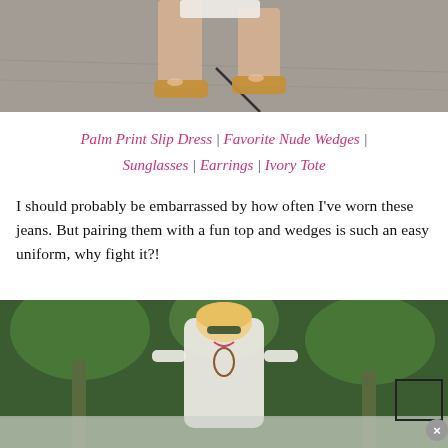[Figure (photo): Close-up photo of feet wearing nude/tan wedge sandals on pavement, with a dark line/leash visible]
Palm Print Slip Dress | Favorite Nude Wedges | Sunglasses | Earrings | Ivory Tote
I should probably be embarrassed by how often I've worn these jeans. But pairing them with a fun top and wedges is such an easy uniform, why fight it?!
[Figure (photo): Blonde woman in white outfit wearing sunglasses, smiling, standing outdoors with palm trees in background; bottom portion has a semi-transparent overlay with an X close button and a small inset box]